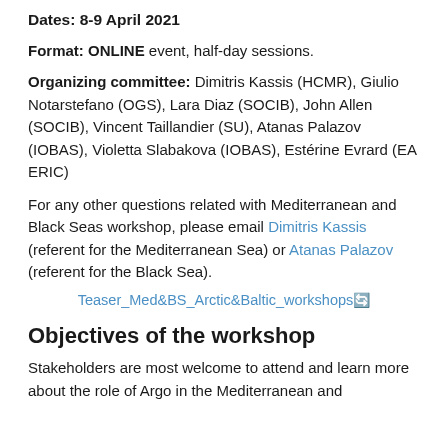Dates: 8-9 April 2021
Format: ONLINE event, half-day sessions.
Organizing committee: Dimitris Kassis (HCMR), Giulio Notarstefano (OGS), Lara Diaz (SOCIB), John Allen (SOCIB), Vincent Taillandier (SU), Atanas Palazov (IOBAS), Violetta Slabakova (IOBAS), Estérine Evrard (EA ERIC)
For any other questions related with Mediterranean and Black Seas workshop, please email Dimitris Kassis (referent for the Mediterranean Sea) or Atanas Palazov (referent for the Black Sea).
Teaser_Med&BS_Arctic&Baltic_workshops
Objectives of the workshop
Stakeholders are most welcome to attend and learn more about the role of Argo in the Mediterranean and